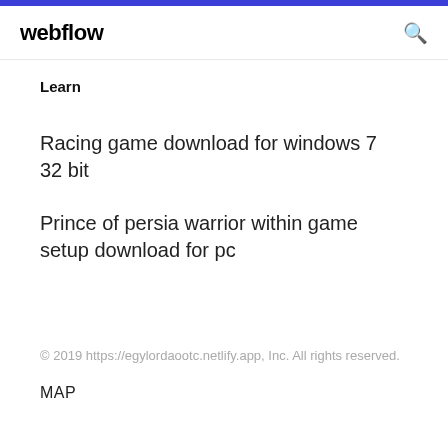webflow
Learn
Racing game download for windows 7 32 bit
Prince of persia warrior within game setup download for pc
© 2019 https://egylordaootc.netlify.app, Inc. All rights reserved.
MAP